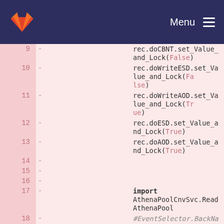GitLab — Menu
[Figure (screenshot): Code diff view showing lines 9-22 of a Python/config file with deleted lines (red background), line numbers on left, dash markers indicating removed lines, with syntax-highlighted code including imports and method calls.]